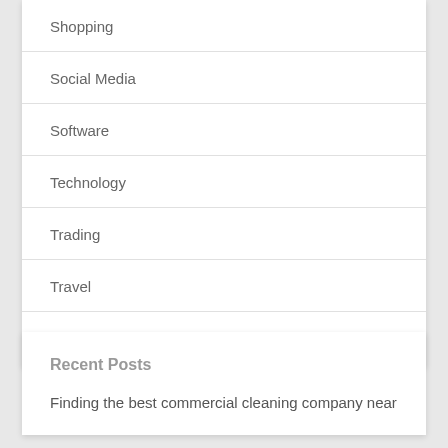Shopping
Social Media
Software
Technology
Trading
Travel
Web Design
Recent Posts
Finding the best commercial cleaning company near